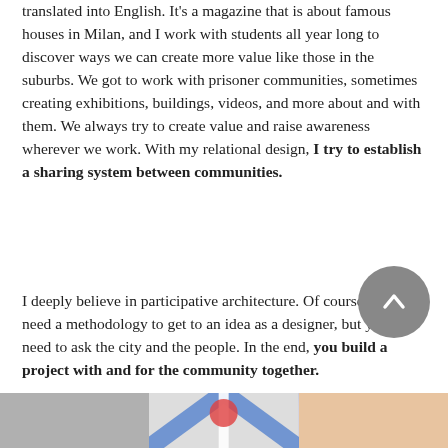translated into English. It's a magazine that is about famous houses in Milan, and I work with students all year long to discover ways we can create more value like those in the suburbs. We got to work with prisoner communities, sometimes creating exhibitions, buildings, videos, and more about and with them. We always try to create value and raise awareness wherever we work. With my relational design, I try to establish a sharing system between communities.
I deeply believe in participative architecture. Of course, you need a methodology to get to an idea as a designer, but you also need to ask the city and the people. In the end, you build a project with and for the community together.
[Figure (photo): Bottom strip showing three partial images side by side: a grey/dark image on the left, a colorful image with blue and red tones in the center, and a skin-toned image on the right.]